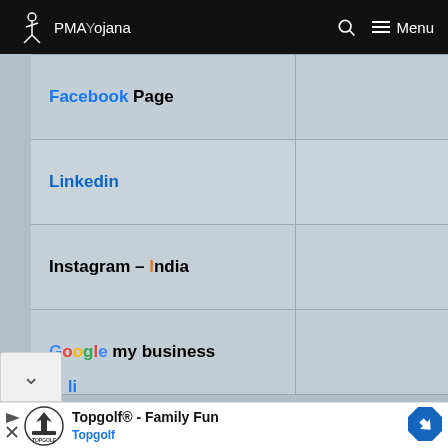PMA Yojana — Menu
| Link |  |
| --- | --- |
| Facebook Page |  |
| Linkedin |  |
| Instagram – India |  |
| Google my business |  |
[Figure (screenshot): Advertisement: Topgolf® - Family Fun, Topgolf logo and navigation arrow]
Topgolf® - Family Fun — Topgolf